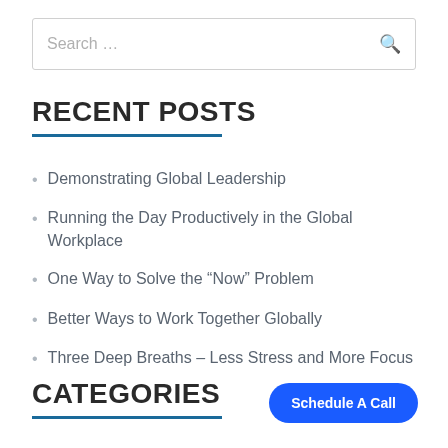Search ...
RECENT POSTS
Demonstrating Global Leadership
Running the Day Productively in the Global Workplace
One Way to Solve the “Now” Problem
Better Ways to Work Together Globally
Three Deep Breaths – Less Stress and More Focus
CATEGORIES
Schedule A Call